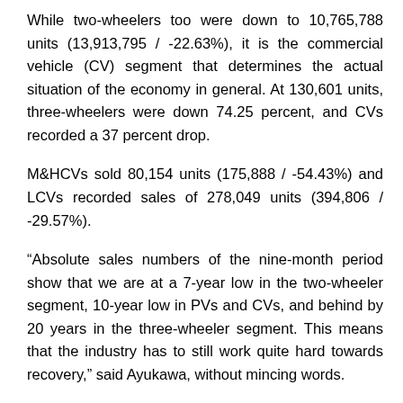While two-wheelers too were down to 10,765,788 units (13,913,795 / -22.63%), it is the commercial vehicle (CV) segment that determines the actual situation of the economy in general. At 130,601 units, three-wheelers were down 74.25 percent, and CVs recorded a 37 percent drop.
M&HCVs sold 80,154 units (175,888 / -54.43%) and LCVs recorded sales of 278,049 units (394,806 / -29.57%).
“Absolute sales numbers of the nine-month period show that we are at a 7-year low in the two-wheeler segment, 10-year low in PVs and CVs, and behind by 20 years in the three-wheeler segment. This means that the industry has to still work quite hard towards recovery,” said Ayukawa, without mincing words.
Q3 vs Q2 FY2021: reason to be optimistic
Not all is gloom and doom though. While the cumulative nine-month numbers do reflect the challenging market situation,